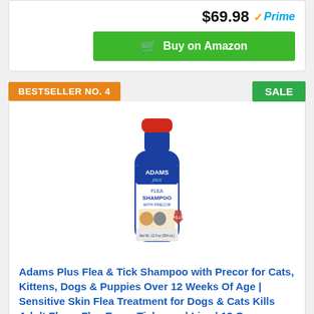$69.98 Prime
Buy on Amazon
BESTSELLER NO. 4
SALE
[Figure (photo): Adams Plus Flea & Tick Shampoo bottle, blue with red cap, 12 oz]
Adams Plus Flea & Tick Shampoo with Precor for Cats, Kittens, Dogs & Puppies Over 12 Weeks Of Age | Sensitive Skin Flea Treatment for Dogs & Cats Kills Adult Fleas, Flea Eggs, Ticks, and Lice | 12 Oz